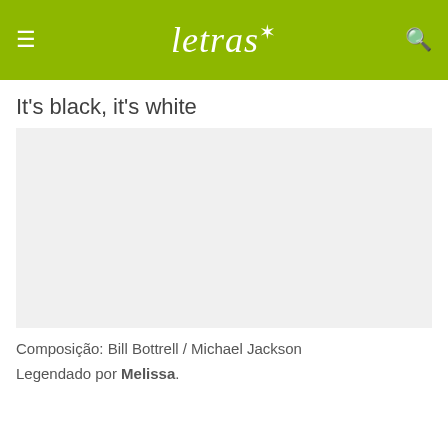letras (logo) — hamburger menu and search icon
It's black, it's white
[Figure (other): Advertisement placeholder block (light grey rectangle)]
Composição: Bill Bottrell / Michael Jackson
Legendado por Melissa.